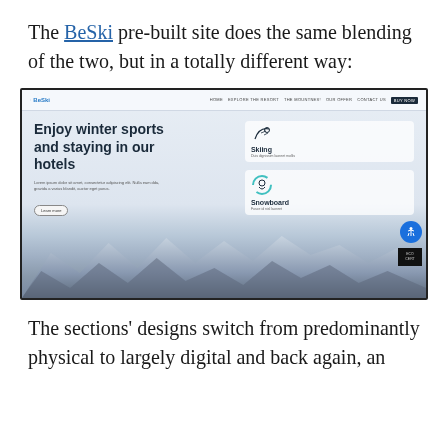The BeSki pre-built site does the same blending of the two, but in a totally different way:
[Figure (screenshot): Screenshot of the BeSki website showing a winter sports hotel homepage with navigation bar, hero heading 'Enjoy winter sports and staying in our hotels', lorem ipsum body text, a 'Learn more' button, and two feature cards for Skiing and Snowboard on the right side, with a snowy mountain panorama at the bottom.]
The sections' designs switch from predominantly physical to largely digital and back again, an